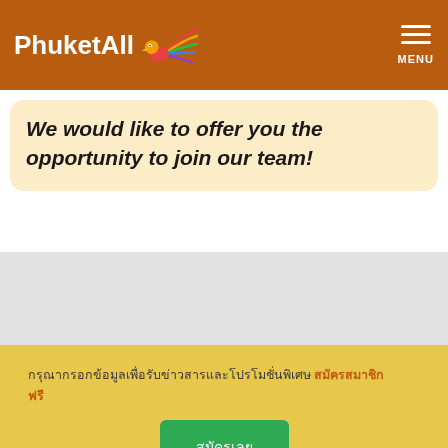PhuketAll — MENU
We would like to offer you the opportunity to join our team!
กรุณากรอกข้อมูลเพื่อรับข่าวสารและโปรโมชั่นพิเศษ สมัครสมาชิก ฟรี
สมัครเลย